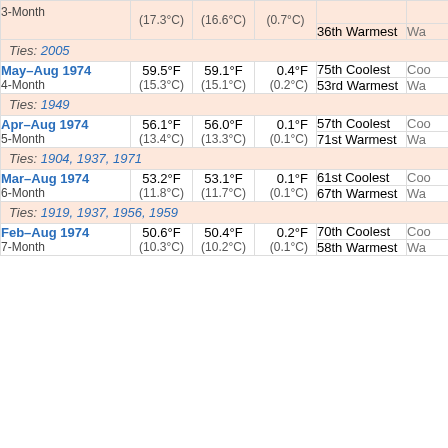| Period | Actual | Average | Departure | Rank |  |
| --- | --- | --- | --- | --- | --- |
| 3-Month | (17.3°C) | (16.6°C) | (0.7°C) | 36th Warmest | Wa |
|  |  |  |  | Ties: 2005 |  |
| May–Aug 1974 / 4-Month | 59.5°F (15.3°C) | 59.1°F (15.1°C) | 0.4°F (0.2°C) | 75th Coolest / 53rd Warmest | Coo / Wa |
|  |  |  |  | Ties: 1949 |  |
| Apr–Aug 1974 / 5-Month | 56.1°F (13.4°C) | 56.0°F (13.3°C) | 0.1°F (0.1°C) | 57th Coolest / 71st Warmest | Coo / Wa |
|  |  |  |  | Ties: 1904, 1937, 1971 |  |
| Mar–Aug 1974 / 6-Month | 53.2°F (11.8°C) | 53.1°F (11.7°C) | 0.1°F (0.1°C) | 61st Coolest / 67th Warmest | Coo / Wa |
|  |  |  |  | Ties: 1919, 1937, 1956, 1959 |  |
| Feb–Aug 1974 / 7-Month | 50.6°F (10.3°C) | 50.4°F (10.2°C) | 0.2°F (0.1°C) | 70th Coolest / 58th Warmest | Coo / Wa |